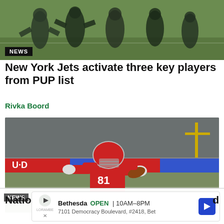[Figure (photo): Football players running on a field, top banner photo with NEWS badge in lower left]
New York Jets activate three key players from PUP list
Rivka Boord
[Figure (photo): Football player wearing red jersey number 81 running with the ball on stadium field]
NEWS | Bethesda OPEN 10AM-8PM | 7101 Democracy Boulevard, #2418, Bet — advertisement overlay